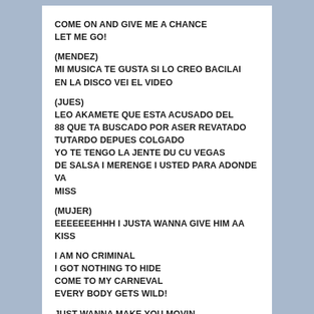COME ON AND GIVE ME A CHANCE
LET ME GO!
(MENDEZ)
MI MUSICA TE GUSTA SI LO CREO BACILAI
EN LA DISCO VEI EL VIDEO
(JUES)
LEO AKAMETE QUE ESTA ACUSADO DEL
88 QUE TA BUSCADO POR ASER REVATADO
TUTARDO DEPUES COLGADO
YO TE TENGO LA JENTE DU CU VEGAS
DE SALSA I MERENGE I USTED PARA ADONDE VA
MISS
(MUJER)
EEEEEEHHH I JUSTA WANNA GIVE HIM AA KISS
I AM NO CRIMINAL
I GOT NOTHING TO HIDE
COME TO MY CARNEVAL
EVERY BODY GETS WILD!
JUST WANNA MAKE YOU MOVIN
EL NO ES UN CRIMINAL!
JUST WANNA MAKE YOU DANCE
[continues]